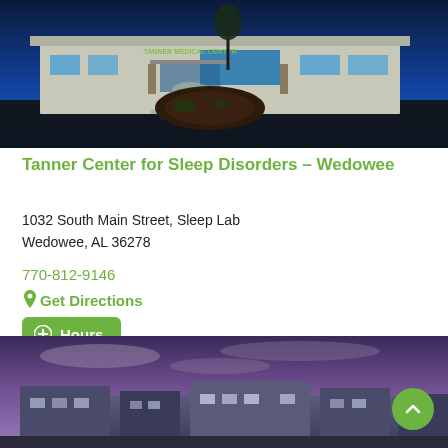[Figure (photo): Exterior night photo of Tanner Medical Center building with illuminated signage, modern architecture, and landscaped roundabout in foreground]
Tanner Center for Sleep Disorders – Wedowee
1032 South Main Street, Sleep Lab
Wedowee, AL 36278
770-812-9146
Get Directions
Hours
[Figure (photo): Exterior dusk/evening photo of a large modern medical/hospital complex with purple sky]